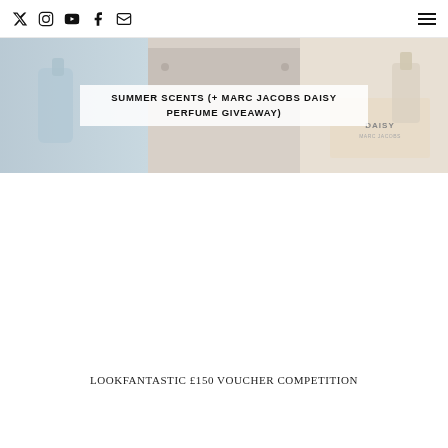Social icons: Twitter, Instagram, YouTube, Facebook, Email | Hamburger menu
[Figure (photo): Blog post thumbnail image collage showing summer perfume bottles including Marc Jacobs Daisy, with overlaid text title]
SUMMER SCENTS (+ MARC JACOBS DAISY PERFUME GIVEAWAY)
LOOKFANTASTIC £150 VOUCHER COMPETITION